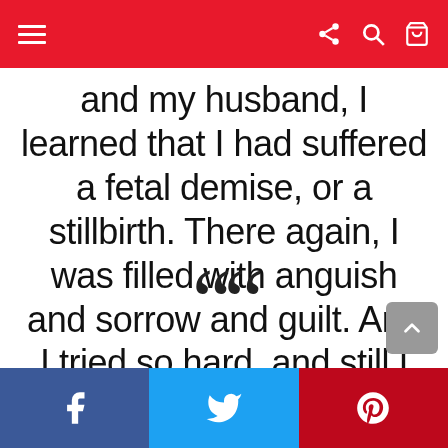Navigation bar with menu, share, search, and cart icons
and my husband, I learned that I had suffered a fetal demise, or a stillbirth. There again, I was filled with anguish and sorrow and guilt. And I tried so hard, and still I felt like I failed trying to be a mother.
[Figure (illustration): Large opening quotation marks symbol in dark color]
Social sharing bar with Facebook, Twitter, and Pinterest buttons